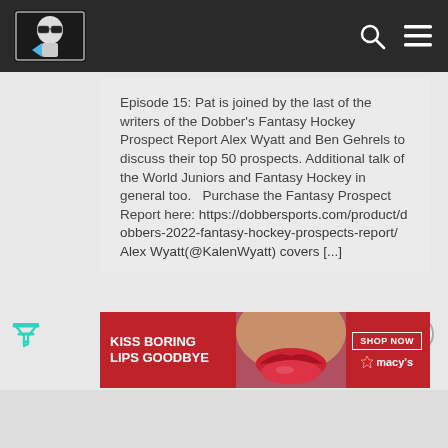Navigation bar with logo, search icon, and menu icon
Episode 15: Pat is joined by the last of the writers of the Dobber's Fantasy Hockey Prospect Report Alex Wyatt and Ben Gehrels to discuss their top 50 prospects. Additional talk of the World Juniors and Fantasy Hockey in general too.   Purchase the Fantasy Prospect Report here: https://dobbersports.com/product/dobbers-2022-fantasy-hockey-prospects-report/ Alex Wyatt (@KalenWyatt) covers [...]
[Figure (infographic): Advertisement banner: KISS BORING LIPS GOODBYE with woman's lips photo and SHOP NOW / macy's star logo on red background]